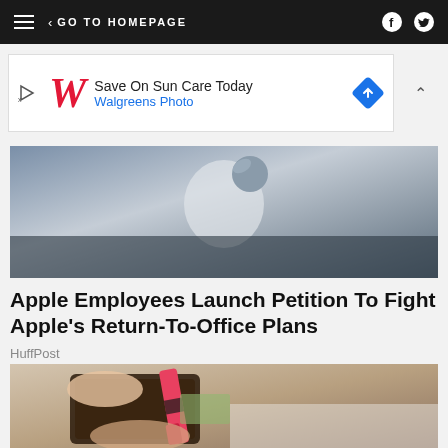GO TO HOMEPAGE
[Figure (screenshot): Advertisement banner: Walgreens Photo - Save On Sun Care Today]
[Figure (photo): Apple logo on glass storefront, close-up view]
Apple Employees Launch Petition To Fight Apple's Return-To-Office Plans
HuffPost
[Figure (photo): Hands holding open a wallet with a Crayola crayon inside instead of money, on white wooden surface]